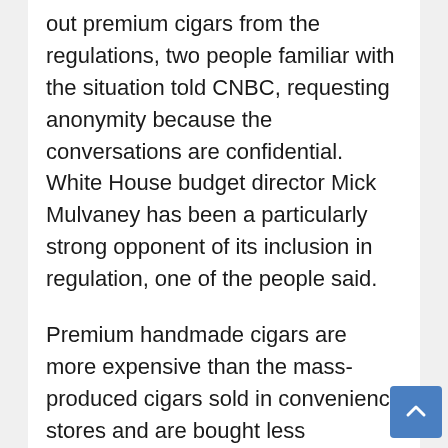out premium cigars from the regulations, two people familiar with the situation told CNBC, requesting anonymity because the conversations are confidential. White House budget director Mick Mulvaney has been a particularly strong opponent of its inclusion in regulation, one of the people said.
Premium handmade cigars are more expensive than the mass-produced cigars sold in convenience stores and are bought less frequently. The cigar industry is strong in Florida, a swing state whose 29 Electoral College votes is tied with New York for third place among states.
The FDA last week offered a small concession.